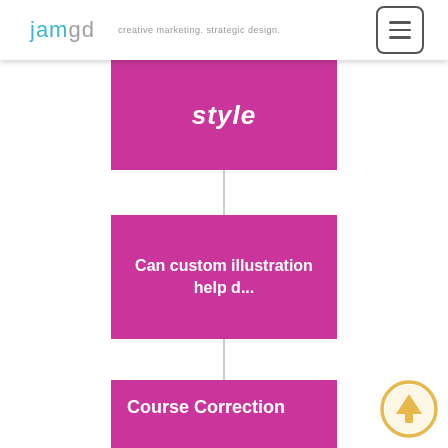jamgd creative marketing. strategic design.
[Figure (flowchart): Vertical flowchart with magenta/pink cards connected by a vertical gray line. Top card shows 'style', middle card shows 'Can custom illustration help d...', bottom card shows 'Course Correction'. A golden circular up-arrow button appears at bottom right.]